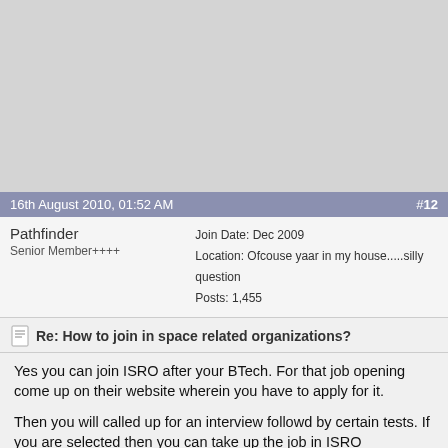[Figure (other): Gray advertisement/banner placeholder area at top of forum page]
16th August 2010, 01:52 AM   #12
Pathfinder
Senior Member++++
Join Date: Dec 2009
Location: Ofcouse yaar in my house.....silly question
Posts: 1,455
Re: How to join in space related organizations?
Yes you can join ISRO after your BTech. For that job opening come up on their website wherein you have to apply for it.
Then you will called up for an interview followd by certain tests. If you are selected then you can take up the job in ISRO
But to get there isnt easy. For that you must have a mastery of your basic fundamentals of you subjects of engineering. So study hard